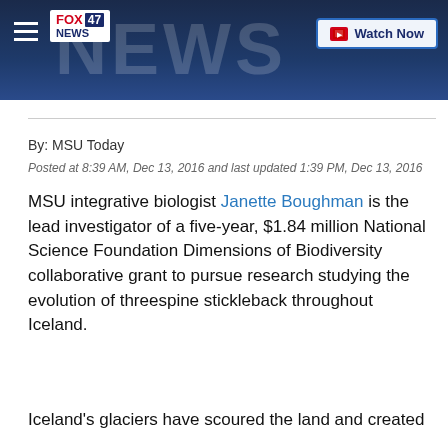[Figure (screenshot): FOX 47 News website header with logo, hamburger menu icon, NEWS text background, and Watch Now button on dark blue background]
By: MSU Today
Posted at 8:39 AM, Dec 13, 2016 and last updated 1:39 PM, Dec 13, 2016
MSU integrative biologist Janette Boughman is the lead investigator of a five-year, $1.84 million National Science Foundation Dimensions of Biodiversity collaborative grant to pursue research studying the evolution of threespine stickleback throughout Iceland.
Iceland's glaciers have scoured the land and created